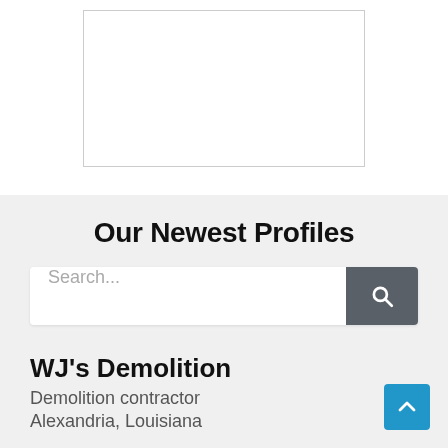[Figure (other): White rectangular box with border, representing an image or ad placeholder]
Our Newest Profiles
[Figure (other): Search bar with text input placeholder 'Search...' and dark gray search button with magnifying glass icon]
WJ's Demolition
Demolition contractor
Alexandria, Louisiana